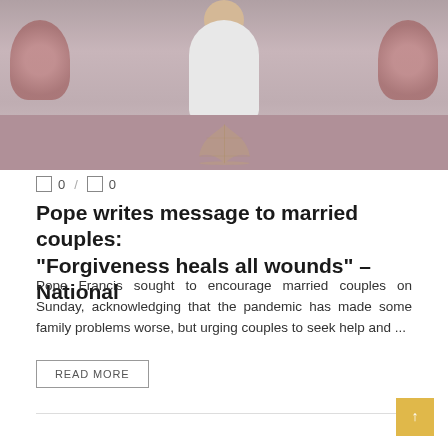[Figure (photo): Photograph of Pope Francis speaking at a podium with flowers on either side and a decorative banner/backdrop behind him]
0 / 0
Pope writes message to married couples: “Forgiveness heals all wounds” – National
Pope Francis sought to encourage married couples on Sunday, acknowledging that the pandemic has made some family problems worse, but urging couples to seek help and ...
READ MORE